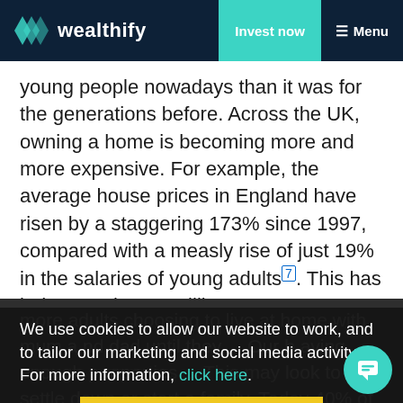wealthify — Invest now | Menu
young people nowadays than it was for the generations before. Across the UK, owning a home is becoming more and more expensive. For example, the average house prices in England have risen by a staggering 173% since 1997, compared with a measly rise of just 19% in the salaries of young adults[7]. This has led to nearly one million
more adults choosing to live at home with mum a[nd dad until they decide to settle ...] h[aving enough] ... [This] may look to settle down or start a family. Today 40% of young people face the prospect that they will renting for the[7]. More and more young people turning to their parents for support and home...
We use cookies to allow our website to work, and to tailor our marketing and social media activity. For more information, click here.
Close